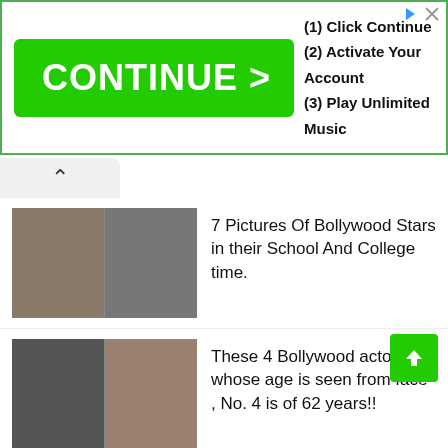[Figure (screenshot): Green 'CONTINUE >' advertisement banner with steps: (1) Click Continue, (2) Activate Your Account, (3) Play Unlimited Music]
7 Pictures Of Bollywood Stars in their School And College time.
These 4 Bollywood actors whose age is seen from face , No. 4 is of 62 years!!
11 Non-Thrillers That Had Surprising Twists We Never Saw Coming
10 Top Movies Of Vijay Deverakonda, According To IMDb
23 Bollywood Remakes Of International Films That Retain The Original's Pu...